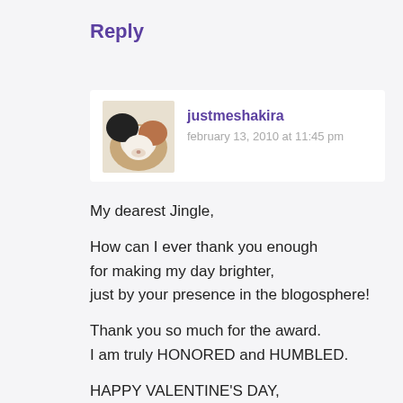Reply
justmeshakira
february 13, 2010 at 11:45 pm
My dearest Jingle,

How can I ever thank you enough for making my day brighter, just by your presence in the blogosphere!

Thank you so much for the award. I am truly HONORED and HUMBLED.

HAPPY VALENTINE'S DAY, may all your days be a valentine!

hugs,